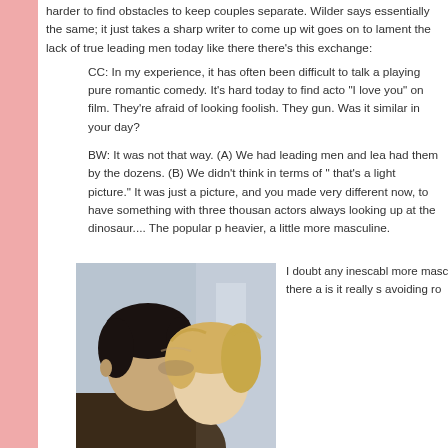harder to find obstacles to keep couples separate. Wilder says essentially the same; it just takes a sharp writer to come up with goes on to lament the lack of true leading men today like there there's this exchange:
CC: In my experience, it has often been difficult to talk a playing pure romantic comedy. It's hard today to find acto "I love you" on film. They're afraid of looking foolish. They gun. Was it similar in your day?
BW: It was not that way. (A) We had leading men and lea had them by the dozens. (B) We didn't think in terms of " that's a light picture." It was just a picture, and you made very different now, to have something with three thousan actors always looking up at the dinosaur.... The popular p heavier, a little more masculine.
[Figure (photo): A couple (man with dark hair and woman with blonde hair) with their heads close together, appearing to be in an intimate moment, with a blurred background.]
I doubt any inescabl more masc that there a is it really s avoiding ro